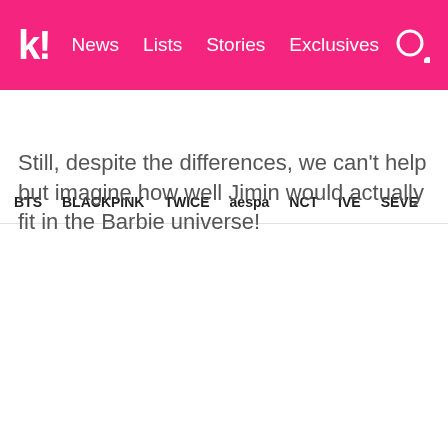k! News Lists Stories Exclusives
BTS BLACKPINK TWICE aespa NCT IVE SEVE
Still, despite the differences, we can't help but imagine how well Jimin would actually fit in the Barbie universe!
[Figure (screenshot): Embedded tweet from @jmintine (jimin louvre) saying 'We need Park Jimin as Ken in a Barbie movie' with two side-by-side photos showing Ryan Gosling as Ken in a cowboy hat and Park Jimin]